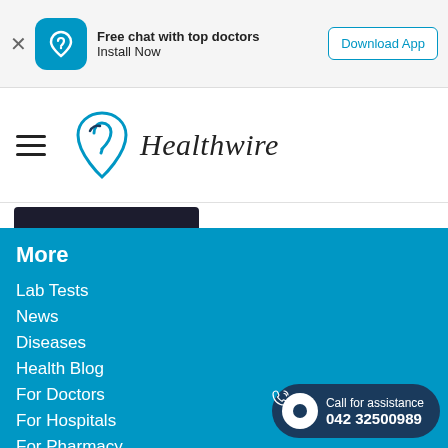[Figure (screenshot): App install banner with Healthwire app icon, text 'Free chat with top doctors / Install Now', and a 'Download App' button]
[Figure (logo): Healthwire logo with teal shield/heart icon and italic text 'Healthwire']
More
Lab Tests
News
Diseases
Health Blog
For Doctors
For Hospitals
For Pharmacy
For Laboratory
For Corporates
Contact Us
Privacy Policy
Call for assistance 042 32500989